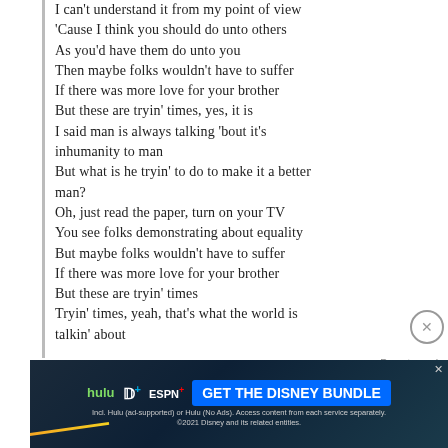I can't understand it from my point of view
'Cause I think you should do unto others
As you'd have them do unto you
Then maybe folks wouldn't have to suffer
If there was more love for your brother
But these are tryin' times, yes, it is
I said man is always talking 'bout it's inhumanity to man
But what is he tryin' to do to make it a better man?
Oh, just read the paper, turn on your TV
You see folks demonstrating about equality
But maybe folks wouldn't have to suffer
If there was more love for your brother
But these are tryin' times
Tryin' times, yeah, that's what the world is talkin' about
[Figure (other): Advertisement banner for Disney Bundle (Hulu, Disney+, ESPN+) with blue background and 'GET THE DISNEY BUNDLE' call to action button]